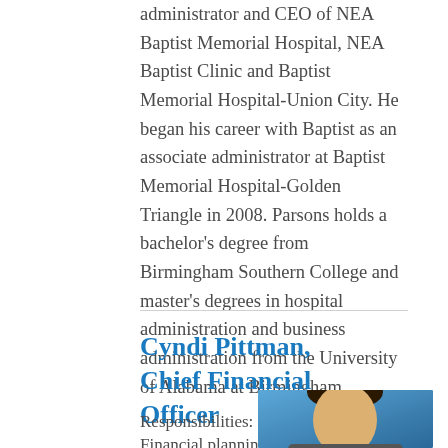administrator and CEO of NEA Baptist Memorial Hospital, NEA Baptist Clinic and Baptist Memorial Hospital-Union City. He began his career with Baptist as an associate administrator at Baptist Memorial Hospital-Golden Triangle in 2008. Parsons holds a bachelor's degree from Birmingham Southern College and master's degrees in hospital administration and business administration from the University of Alabama at Birmingham.
Cyndi Pittman, Chief Financial Officer
Responsibilities:
[Figure (photo): Headshot photo of Cyndi Pittman against a blue background]